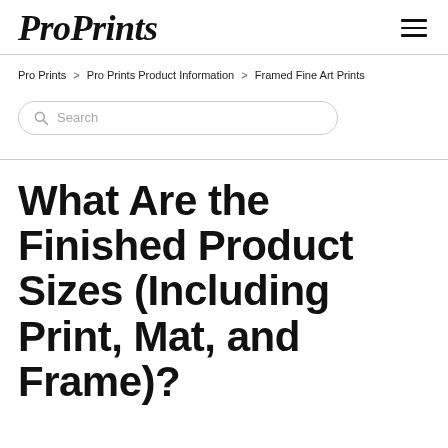ProPrints
Pro Prints > Pro Prints Product Information > Framed Fine Art Prints
Search
What Are the Finished Product Sizes (Including Print, Mat, and Frame)?